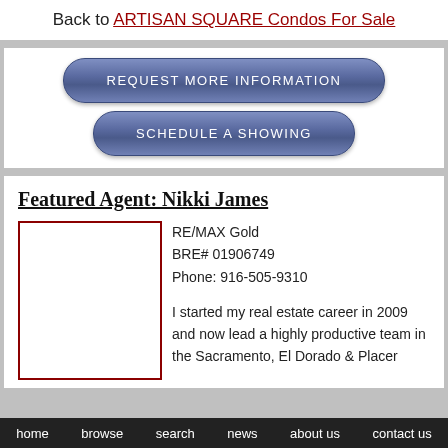Back to ARTISAN SQUARE Condos For Sale
REQUEST MORE INFORMATION
SCHEDULE A SHOWING
Featured Agent: Nikki James
RE/MAX Gold
BRE# 01906749
Phone: 916-505-9310

I started my real estate career in 2009 and now lead a highly productive team in the Sacramento, El Dorado & Placer
home   browse   search   news   about us   contact us